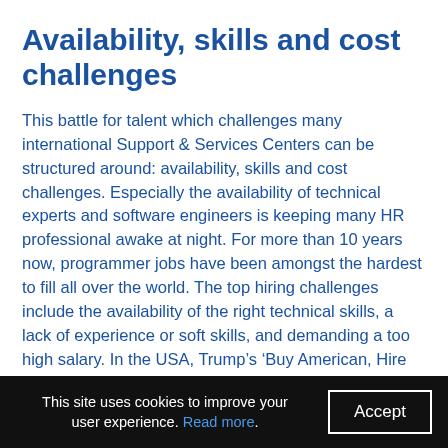Availability, skills and cost challenges
This battle for talent which challenges many international Support & Services Centers can be structured around: availability, skills and cost challenges. Especially the availability of technical experts and software engineers is keeping many HR professional awake at night. For more than 10 years now, programmer jobs have been amongst the hardest to fill all over the world. The top hiring challenges include the availability of the right technical skills, a lack of experience or soft skills, and demanding a too high salary. In the USA, Trump’s ‘Buy American, Hire American’ is further hindering the availability of foreign tech talent.
This site uses cookies to improve your user experience. Read more. Accept